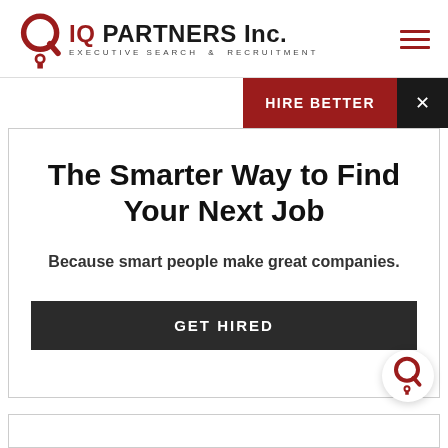[Figure (logo): IQ Partners Inc. logo with circular Q icon in dark red and text 'IQ PARTNERS Inc.' with tagline 'EXECUTIVE SEARCH & RECRUITMENT']
[Figure (infographic): Hamburger menu icon (three horizontal dark red lines) in top right corner]
HIRE BETTER
The Smarter Way to Find Your Next Job
Because smart people make great companies.
GET HIRED
[Figure (logo): IQ Partners circular Q logo icon in dark red, shown in bottom right as a chat/widget button]